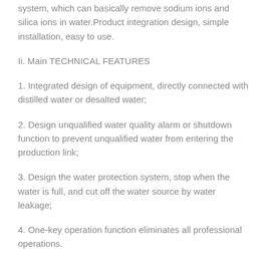system, which can basically remove sodium ions and silica ions in water.Product integration design, simple installation, easy to use.
Ii. Main TECHNICAL FEATURES
1. Integrated design of equipment, directly connected with distilled water or desalted water;
2. Design unqualified water quality alarm or shutdown function to prevent unqualified water from entering the production link;
3. Design the water protection system, stop when the water is full, and cut off the water source by water leakage;
4. One-key operation function eliminates all professional operations.